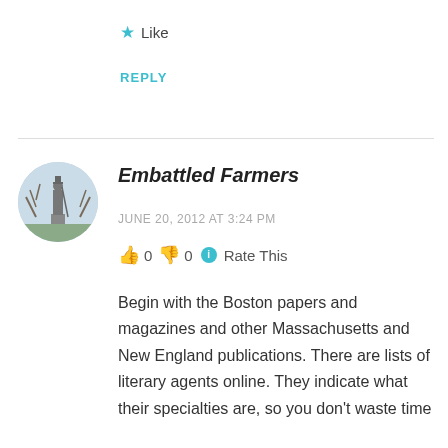★ Like
REPLY
Embattled Farmers
JUNE 20, 2012 AT 3:24 PM
👍 0 👎 0 ℹ Rate This
Begin with the Boston papers and magazines and other Massachusetts and New England publications. There are lists of literary agents online. They indicate what their specialties are, so you don't waste time